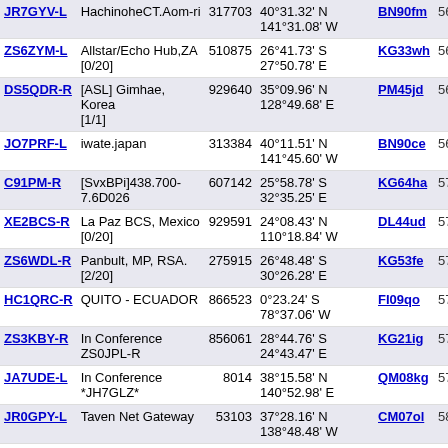| Callsign | Location | Node | Coordinates | Grid | Last |
| --- | --- | --- | --- | --- | --- |
| JR7GYV-L | HachinoheCT.Aom-ri | 317703 | 40°31.32' N 141°31.08' W | BN90fm | 566 |
| ZS6ZYM-L | Allstar/Echo Hub,ZA [0/20] | 510875 | 26°41.73' S 27°50.78' E | KG33wh | 567 |
| DS5QDR-R | [ASL] Gimhae, Korea [1/1] | 929640 | 35°09.96' N 128°49.68' E | PM45jd | 569 |
| JO7PRF-L | iwate.japan | 313384 | 40°11.51' N 141°45.60' W | BN90ce | 569 |
| C91PM-R | [SvxBPi]438.700-7.6D026 | 607142 | 25°58.78' S 32°35.25' E | KG64ha | 572 |
| XE2BCS-R | La Paz BCS, Mexico [0/20] | 929591 | 24°08.43' N 110°18.84' W | DL44ud | 573 |
| ZS6WDL-R | Panbult, MP, RSA. [2/20] | 275915 | 26°48.48' S 30°26.28' E | KG53fe | 573 |
| HC1QRC-R | QUITO - ECUADOR | 866523 | 0°23.24' S 78°37.06' W | FI09qo | 576 |
| ZS3KBY-R | In Conference ZS0JPL-R | 856061 | 28°44.76' S 24°43.47' E | KG21ig | 576 |
| JA7UDE-L | In Conference *JH7GLZ* | 8014 | 38°15.58' N 140°52.98' E | QM08kg | 579 |
| JR0GPY-L | Taven Net Gateway | 53103 | 37°28.16' N 138°48.48' W | CM07ol | 580 |
| JR4HJP-L | ŽRŒûƒ‰ƒOƒ`ƒ...🔲 [ROOM (1) | 481234 | 34°10.54' N 131°27.90' E | PM54re | 582 |
| PY2EQJ-L | In Conference *BRASIL* | 234463 | 21°46.23' S 47°04.59' W | GG68lf | 582 |